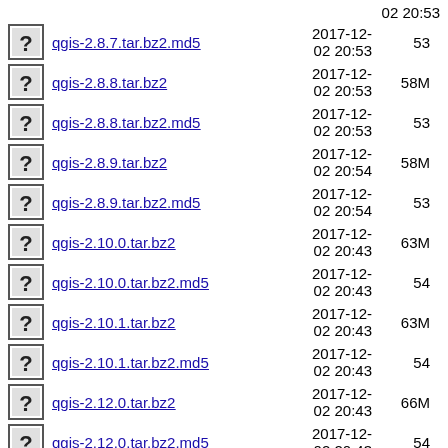02 20:53   (partial top row)
qgis-2.8.7.tar.bz2.md5  2017-12-02 20:53  53
qgis-2.8.8.tar.bz2  2017-12-02 20:53  58M
qgis-2.8.8.tar.bz2.md5  2017-12-02 20:53  53
qgis-2.8.9.tar.bz2  2017-12-02 20:54  58M
qgis-2.8.9.tar.bz2.md5  2017-12-02 20:54  53
qgis-2.10.0.tar.bz2  2017-12-02 20:43  63M
qgis-2.10.0.tar.bz2.md5  2017-12-02 20:43  54
qgis-2.10.1.tar.bz2  2017-12-02 20:43  63M
qgis-2.10.1.tar.bz2.md5  2017-12-02 20:43  54
qgis-2.12.0.tar.bz2  2017-12-02 20:43  66M
qgis-2.12.0.tar.bz2.md5  2017-12-02 20:43  54